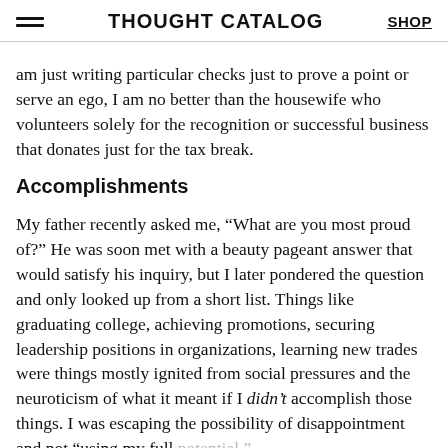THOUGHT CATALOG  SHOP
am just writing particular checks just to prove a point or serve an ego, I am no better than the housewife who volunteers solely for the recognition or successful business that donates just for the tax break.
Accomplishments
My father recently asked me, “What are you most proud of?” He was soon met with a beauty pageant answer that would satisfy his inquiry, but I later pondered the question and only looked up from a short list. Things like graduating college, achieving promotions, securing leadership positions in organizations, learning new trades were things mostly ignited from social pressures and the neuroticism of what it meant if I didn’t accomplish those things. I was escaping the possibility of disappointment and not “using my full potential.”